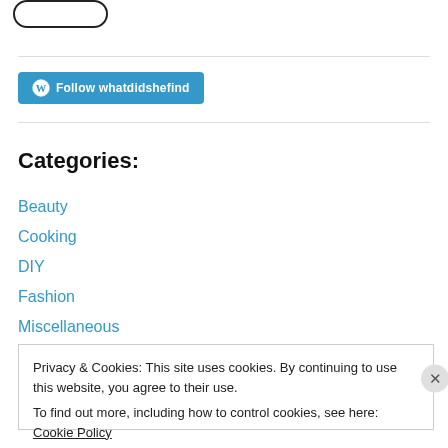[Figure (illustration): Partial view of a rounded button/shape at top left corner, dark outline, white fill]
[Figure (other): WordPress Follow button - blue rounded rectangle with W circle icon and text 'Follow whatdidshefind']
Categories:
Beauty
Cooking
DIY
Fashion
Miscellaneous
Privacy & Cookies: This site uses cookies. By continuing to use this website, you agree to their use.
To find out more, including how to control cookies, see here: Cookie Policy
Close and accept